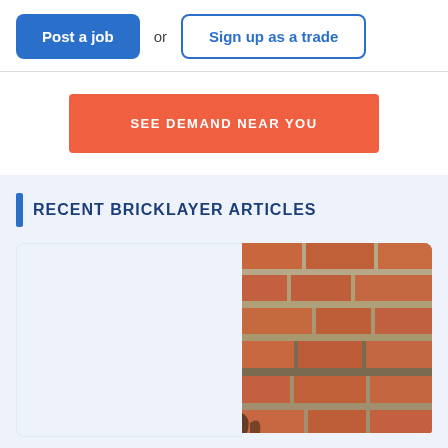Post a job  or  Sign up as a trade
SEE DEMAND NEAR YOU
RECENT BRICKLAYER ARTICLES
[Figure (photo): Close-up photo of a brick wall with crumbling mortar joints, showing orange-red bricks with deteriorating grey/beige mortar between them.]